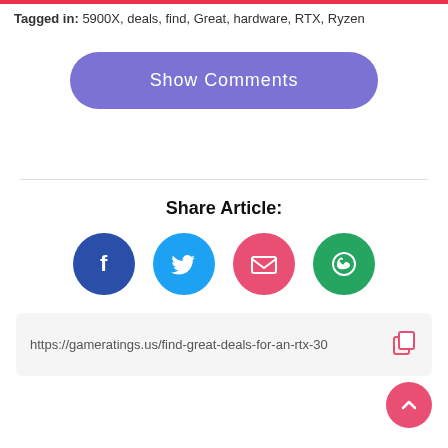Tagged in: 5900X, deals, find, Great, hardware, RTX, Ryzen
[Figure (other): Show Comments button - a purple rounded rectangle button with white text reading 'Show Comments']
Share Article:
[Figure (other): Row of four social sharing icon circles: Facebook (dark blue with f), Twitter (light blue with bird), Email (pink/red with envelope), WhatsApp (green with phone/chat icon)]
https://gameratings.us/find-great-deals-for-an-rtx-30
[Figure (other): Pink circular FAB (floating action button) with an up-arrow (caret) symbol]